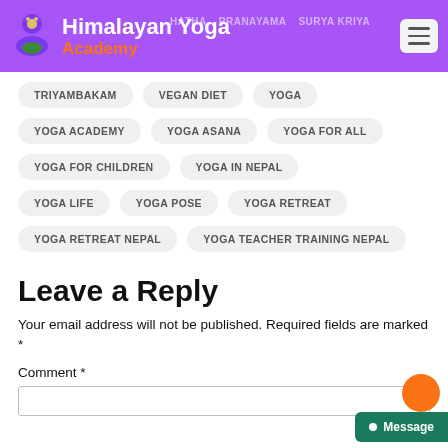Himalayan Yoga Academy
TRIYAMBAKAM
VEGAN DIET
YOGA
YOGA ACADEMY
YOGA ASANA
YOGA FOR ALL
YOGA FOR CHILDREN
YOGA IN NEPAL
YOGA LIFE
YOGA POSE
YOGA RETREAT
YOGA RETREAT NEPAL
YOGA TEACHER TRAINING NEPAL
Leave a Reply
Your email address will not be published. Required fields are marked *
Comment *